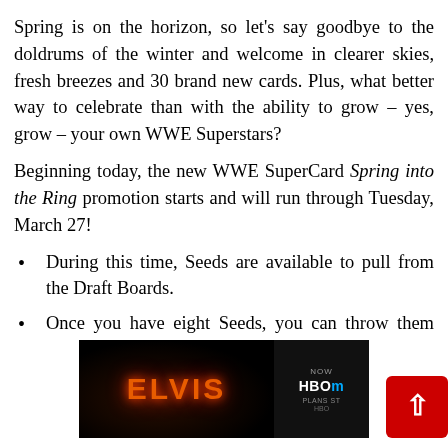Spring is on the horizon, so let's say goodbye to the doldrums of the winter and welcome in clearer skies, fresh breezes and 30 brand new cards. Plus, what better way to celebrate than with the ability to grow – yes, grow – your own WWE Superstars?
Beginning today, the new WWE SuperCard Spring into the Ring promotion starts and will run through Tuesday, March 27!
During this time, Seeds are available to pull from the Draft Boards.
Once you have eight Seeds, you can throw them into the Fusion Chamber and earn one of six different [themed] such as [Heights, Boots...]
[Figure (screenshot): Advertisement overlay showing Elvis movie promotion with HBO Max branding]